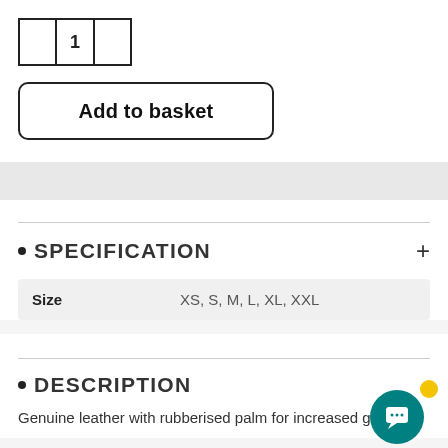[Figure (other): Quantity selector widget showing value 1 with left and right arrow buttons]
[Figure (other): Add to basket button with bold text and rounded rectangle border]
SPECIFICATION
| Size | XS, S, M, L, XL, XXL |
DESCRIPTION
Genuine leather with rubberised palm for increased grip with